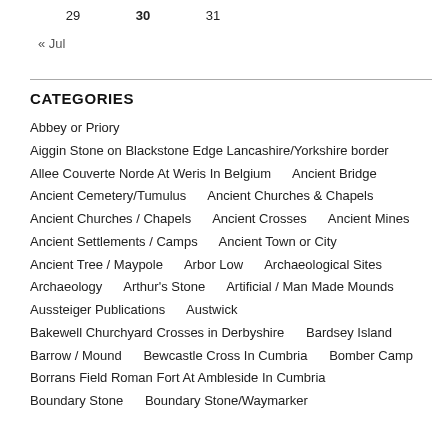29  30  31
« Jul
CATEGORIES
Abbey or Priory
Aiggin Stone on Blackstone Edge Lancashire/Yorkshire border
Allee Couverte Norde At Weris In Belgium
Ancient Bridge
Ancient Cemetery/Tumulus
Ancient Churches & Chapels
Ancient Churches / Chapels
Ancient Crosses
Ancient Mines
Ancient Settlements / Camps
Ancient Town or City
Ancient Tree / Maypole
Arbor Low
Archaeological Sites
Archaeology
Arthur's Stone
Artificial / Man Made Mounds
Aussteiger Publications
Austwick
Bakewell Churchyard Crosses in Derbyshire
Bardsey Island
Barrow / Mound
Bewcastle Cross In Cumbria
Bomber Camp
Borrans Field Roman Fort At Ambleside In Cumbria
Boundary Stone
Boundary Stone/Waymarker